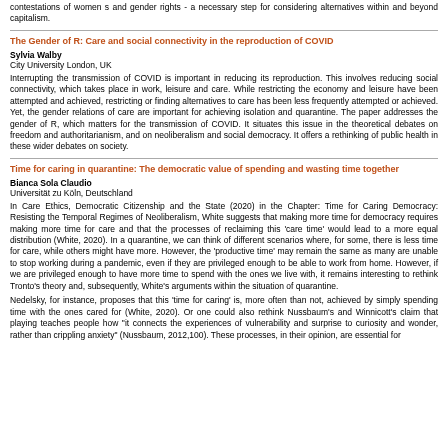contestations of women s and gender rights - a necessary step for considering alternatives within and beyond capitalism.
The Gender of R: Care and social connectivity in the reproduction of COVID
Sylvia Walby
City University London, UK
Interrupting the transmission of COVID is important in reducing its reproduction. This involves reducing social connectivity, which takes place in work, leisure and care. While restricting the economy and leisure have been attempted and achieved, restricting or finding alternatives to care has been less frequently attempted or achieved. Yet, the gender relations of care are important for achieving isolation and quarantine. The paper addresses the gender of R, which matters for the transmission of COVID. It situates this issue in the theoretical debates on freedom and authoritarianism, and on neoliberalism and social democracy. It offers a rethinking of public health in these wider debates on society.
Time for caring in quarantine: The democratic value of spending and wasting time together
Bianca Sola Claudio
Universität zu Köln, Deutschland
In Care Ethics, Democratic Citizenship and the State (2020) in the Chapter: Time for Caring Democracy: Resisting the Temporal Regimes of Neoliberalism, White suggests that making more time for democracy requires making more time for care and that the processes of reclaiming this 'care time' would lead to a more equal distribution (White, 2020). In a quarantine, we can think of different scenarios where, for some, there is less time for care, while others might have more. However, the 'productive time' may remain the same as many are unable to stop working during a pandemic, even if they are privileged enough to be able to work from home. However, if we are privileged enough to have more time to spend with the ones we live with, it remains interesting to rethink Tronto's theory and, subsequently, White's arguments within the situation of quarantine.
Nedelsky, for instance, proposes that this 'time for caring' is, more often than not, achieved by simply spending time with the ones cared for (White, 2020). Or one could also rethink Nussbaum's and Winnicott's claim that playing teaches people how "it connects the experiences of vulnerability and surprise to curiosity and wonder, rather than crippling anxiety" (Nussbaum, 2012,100). These processes, in their opinion, are essential for